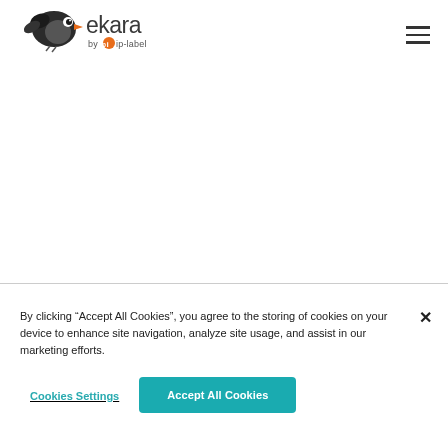[Figure (logo): Ekara by ip-label logo: stylized bird icon in black/orange with text 'ekara' in dark grey and 'by ip-label' below in smaller text]
By clicking “Accept All Cookies”, you agree to the storing of cookies on your device to enhance site navigation, analyze site usage, and assist in our marketing efforts.
Cookies Settings
Accept All Cookies